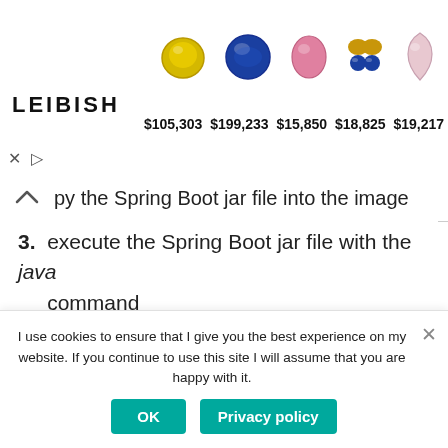[Figure (screenshot): Leibish jewelry ad banner with 5 gemstone images and prices: $105,303, $199,233, $15,850, $18,825, $19,217]
py the Spring Boot jar file into the image
3. execute the Spring Boot jar file with the java command
Let's go ahead then and create a file Dockerfile (no extension required) in the root of the Spring Boot project:
I use cookies to ensure that I give you the best experience on my website. If you continue to use this site I will assume that you are happy with it.